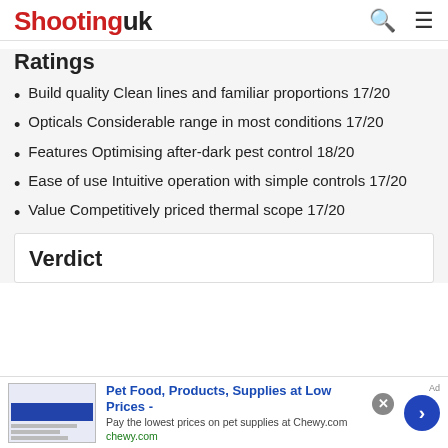Shootinguk
Ratings
Build quality Clean lines and familiar proportions 17/20
Opticals Considerable range in most conditions 17/20
Features Optimising after-dark pest control 18/20
Ease of use Intuitive operation with simple controls 17/20
Value Competitively priced thermal scope 17/20
Verdict
Pet Food, Products, Supplies at Low Prices - Pay the lowest prices on pet supplies at Chewy.com chewy.com